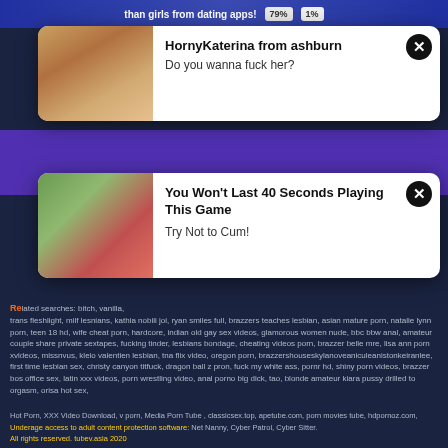[Figure (other): Ad banner at top with text 'than girls from dating apps!' and percentage indicators 79% 1%]
[Figure (other): Popup ad with woman image: HornyKaterina from ashburn - Do you wanna fuck her?]
[Figure (other): Popup ad with game image: You Won't Last 40 Seconds Playing This Game - Try Not to Cum!]
Related searches: bitch, vanilla, trans fleshlight, milf lesnians, kathia nobili joi, ryan smiles full, brazzers teaches lesbian, asian mature porn, natalie lynn porn, teen 18 hd, wife cheat porn, hardcore, indian old gay sex videos, glamorous women nude, bbc bbw anal, amateur couple share private sextapes, fucking tinder, lesbians bondage, cheating videos porn, brazzer belle mre, lisa ann porn xvideos, missnvus, kleio valentien lesbian, tna flix video, oregon porn, brazzershouseskylanoveaniculeanistonkeiranlee, first time lesbian sex, christy canyon titfuck, dragon ball z pron, fuck my white ass, pornr hd, shiny porn videos, brazzer bos office sex, latin xxx videos, porn wrestling video, anal porno big dick, tao, blonde amateur kiara pussy drilled to orgasm, orisa hot sex,
Hot Porn, XXX Video Download, v porn, Media Porn Tube , classicsex.top, apetube.com, porn movies tube, hdpornoz.com,
Underage access to adult content protection software: Net Nanny, Cyber Patrol, Cyber Sitter.
All rights reserved. tubev.asia 2020